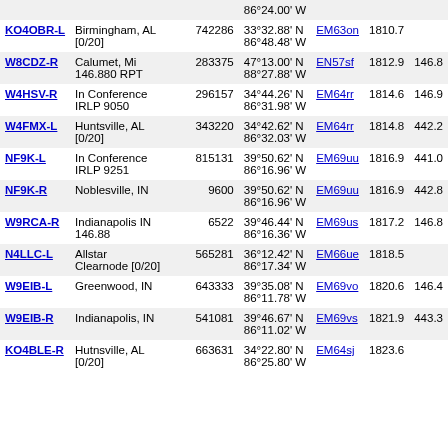| Callsign | Location | Node | Coordinates | Grid | Dist | Freq |
| --- | --- | --- | --- | --- | --- | --- |
|  |  |  | 86°24.00' W |  |  |  |
| KO4OBR-L | Birmingham, AL [0/20] | 742286 | 33°32.88' N 86°48.48' W | EM63on | 1810.7 |  |
| W8CDZ-R | Calumet, Mi 146.880 RPT | 283375 | 47°13.00' N 88°27.88' W | EN57sf | 1812.9 | 146.8 |
| W4HSV-R | In Conference IRLP 9050 | 296157 | 34°44.26' N 86°31.98' W | EM64rr | 1814.6 | 146.9 |
| W4FMX-L | Huntsville, AL [0/20] | 343220 | 34°42.62' N 86°32.03' W | EM64rr | 1814.8 | 442.2 |
| NF9K-L | In Conference IRLP 9251 | 815131 | 39°50.62' N 86°16.96' W | EM69uu | 1816.9 | 441.0 |
| NF9K-R | Noblesville, IN | 9600 | 39°50.62' N 86°16.96' W | EM69uu | 1816.9 | 442.8 |
| W9RCA-R | Indianapolis IN 146.88 | 6522 | 39°46.44' N 86°16.36' W | EM69us | 1817.2 | 146.8 |
| N4LLC-L | Allstar Clearnode [0/20] | 565281 | 36°12.42' N 86°17.34' W | EM66ue | 1818.5 |  |
| W9EIB-L | Greenwood, IN | 643333 | 39°35.08' N 86°11.78' W | EM69vo | 1820.6 | 146.4 |
| W9EIB-R | Indianapolis, IN | 541081 | 39°46.67' N 86°11.02' W | EM69vs | 1821.9 | 443.3 |
| KO4BLE-R | Hutnsville, AL [0/20] | 663631 | 34°22.80' N 86°25.80' W | EM64sj | 1823.6 |  |